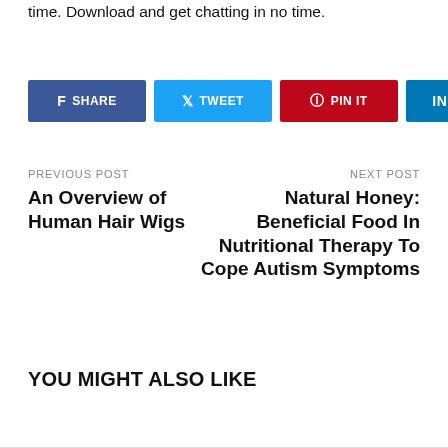time. Download and get chatting in no time.
[Figure (other): Social share buttons: Facebook SHARE, Twitter TWEET, Pinterest PIN IT, LinkedIn SHARE]
PREVIOUS POST
An Overview of Human Hair Wigs
NEXT POST
Natural Honey: Beneficial Food In Nutritional Therapy To Cope Autism Symptoms
YOU MIGHT ALSO LIKE